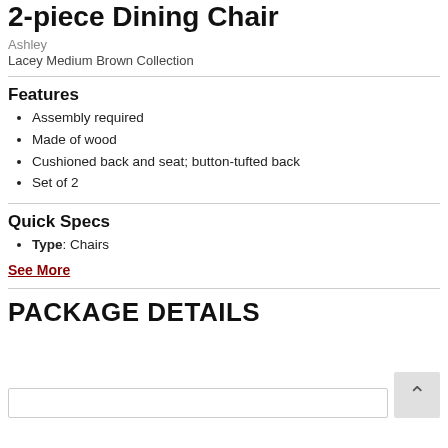2-piece Dining Chair
Ashley
Lacey Medium Brown Collection
Features
Assembly required
Made of wood
Cushioned back and seat; button-tufted back
Set of 2
Quick Specs
Type: Chairs
See More
PACKAGE DETAILS